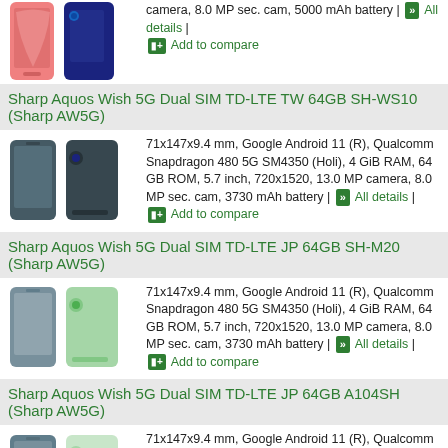camera, 8.0 MP sec. cam, 5000 mAh battery | All details | Add to compare
Sharp Aquos Wish 5G Dual SIM TD-LTE TW 64GB SH-WS10 (Sharp AW5G)
71x147x9.4 mm, Google Android 11 (R), Qualcomm Snapdragon 480 5G SM4350 (Holi), 4 GiB RAM, 64 GB ROM, 5.7 inch, 720x1520, 13.0 MP camera, 8.0 MP sec. cam, 3730 mAh battery | All details | Add to compare
Sharp Aquos Wish 5G Dual SIM TD-LTE JP 64GB SH-M20 (Sharp AW5G)
71x147x9.4 mm, Google Android 11 (R), Qualcomm Snapdragon 480 5G SM4350 (Holi), 4 GiB RAM, 64 GB ROM, 5.7 inch, 720x1520, 13.0 MP camera, 8.0 MP sec. cam, 3730 mAh battery | All details | Add to compare
Sharp Aquos Wish 5G Dual SIM TD-LTE JP 64GB A104SH (Sharp AW5G)
71x147x9.4 mm, Google Android 11 (R), Qualcomm Snapdragon 480 5G SM4350 (Holi), 4 GiB RAM, 64 GB ROM, 5.7 inch, 720x1520, 13.0 MP camera, 8.0 MP sec. cam, 3730 mAh battery | All details | Add to compare